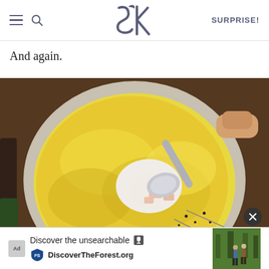SK — SURPRISE!
And again.
[Figure (photo): Overhead view of a bowl with a golden egg-topped dish (pot pie or similar) being served with a spoon, with visible chunks of orange carrot and cream sauce, sprinkled with black pepper, on a brown textured background]
[Figure (screenshot): Advertisement bar at the bottom: 'Discover the unsearchable — DiscoverTheForest.org' with Ad icon, microphone icon, USFS shield icon, and a photo of people hiking in a forest]